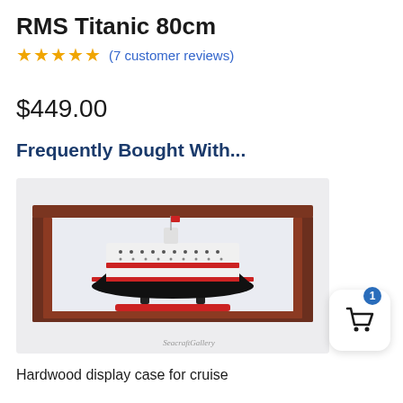RMS Titanic 80cm
★★★★★ (7 customer reviews)
$449.00
Frequently Bought With...
[Figure (photo): A scale model ship (cruise liner) displayed inside a mahogany/dark wood and glass display case, with red hull stand, on a light grey background. Watermark reads 'SeacraftGallery'.]
Hardwood display case for cruise